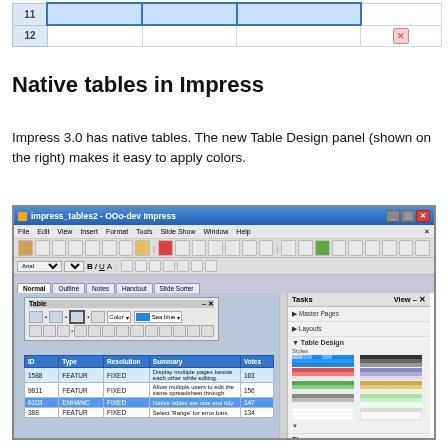[Figure (screenshot): Partial view of a spreadsheet showing rows 11 and 12 at top of page]
Native tables in Impress
Impress 3.0 has native tables. The new Table Design panel (shown on the right) makes it easy to apply colors.
[Figure (screenshot): Screenshot of OOo-dev Impress application showing native table feature with Table Design panel on right side. The main area shows a spreadsheet-like table with columns ID, Type, Resolution, Summary, Votes. The right Tasks panel shows Table Design with style swatches and checkboxes for Header Row, Total Row, Banded Rows, First Column, Last Column, Banded Columns. Below are Custom Animation and Slide Transition sections.]